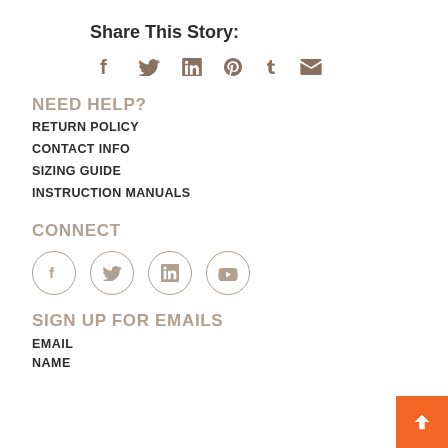Share This Story:
[Figure (infographic): Social sharing icons: Facebook (f), Twitter (bird), LinkedIn (in), Pinterest (p), Tumblr (t), Email (envelope)]
NEED HELP?
RETURN POLICY
CONTACT INFO
SIZING GUIDE
INSTRUCTION MANUALS
CONNECT
[Figure (infographic): Social connect icons in circles: Facebook, Twitter, LinkedIn, YouTube]
SIGN UP FOR EMAILS
EMAIL
NAME